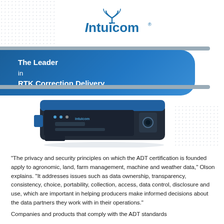[Figure (logo): Intuicom logo with stylized antenna icon above the text]
[Figure (illustration): Blue and black RTK correction device/modem hardware unit]
The Leader in RTK Correction Delivery
"The privacy and security principles on which the ADT certification is founded apply to agronomic, land, farm management, machine and weather data," Olson explains. "It addresses issues such as data ownership, transparency, consistency, choice, portability, collection, access, data control, disclosure and use, which are important in helping producers make informed decisions about the data partners they work with in their operations."
Companies and products that comply with the ADT standards